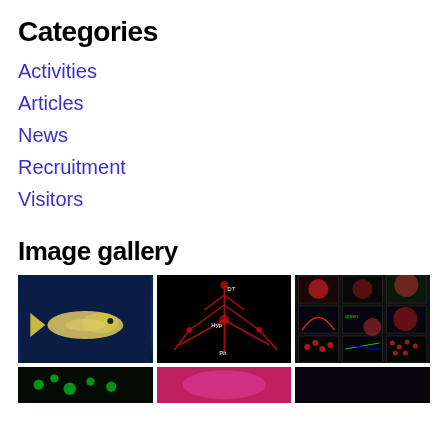Categories
Activities
Articles
News
Recruitment
Visitors
Image gallery
[Figure (photo): Zebrafish swimming in dark blue water]
[Figure (photo): Red fluorescence microscopy image of neural cells with labels DT, Hyp, Pit]
[Figure (photo): Grid of fluorescence microscopy images showing red and green channels]
[Figure (photo): Green fluorescence microscopy image (partial, bottom row)]
[Figure (photo): Pink/magenta microscopy image (partial, bottom row)]
[Figure (photo): Dark microscopy image (partial, bottom row)]